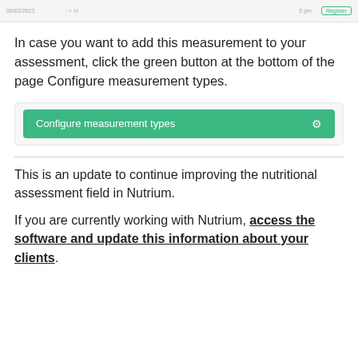[Figure (screenshot): Browser/app navigation bar with date, navigation arrows, and a teal Register button]
In case you want to add this measurement to your assessment, click the green button at the bottom of the page Configure measurement types.
[Figure (screenshot): Teal 'Configure measurement types' button with gear icon]
This is an update to continue improving the nutritional assessment field in Nutrium.
If you are currently working with Nutrium, access the software and update this information about your clients.